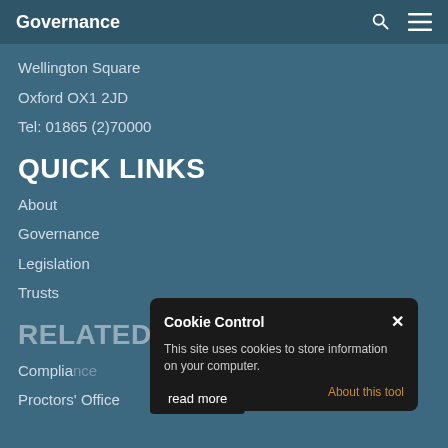Governance
Wellington Square
Oxford OX1 2JD
Tel: 01865 (2)70000
QUICK LINKS
About
Governance
Legislation
Trusts
RELATED CONTENT
Compliance
Proctors' Office
[Figure (screenshot): Cookie Control popup dialog with title 'Cookie Control', close button X, text 'This site uses cookies to store information on your computer.', an 'About this tool' link in orange, and a 'read more' button below.]